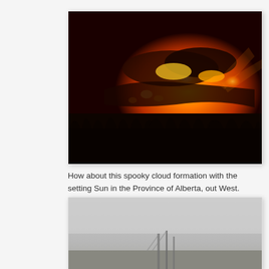[Figure (photo): Dramatic sunset photo showing silhouetted trees against a fiery orange sky with spooky glowing cloud formations backlit by the setting sun.]
How about this spooky cloud formation with the setting Sun in the Province of Alberta, out West.
[Figure (photo): Partial view of a misty or foggy grey scene, likely outdoors, with indistinct shapes visible in the lower portion.]